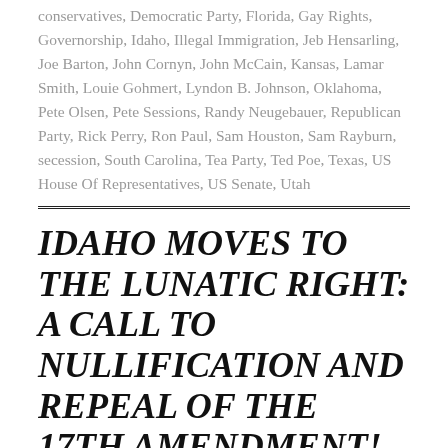conservatives, Democratic Party, Florida, Gay Rights, Governorship, Idaho, Illegal Immigration, Jeb Hensarling, Joe Barton, John Cornyn, John McCain, Kansas, Lamar Smith, Louie Gohmert, Lyndon B. Johnson, Oklahoma, Pete Olsen, Pete Sessions, Randy Neugebauer, Republican Party, Rick Perry, Ron Paul, Sam Houston, Sam Rayburn, secession, South Carolina, Tea Party, Ted Poe, Texas, US House Of Representatives, US Senate, Utah
IDAHO MOVES TO THE LUNATIC RIGHT: A CALL TO NULLIFICATION AND REPEAL OF THE 17TH AMENDMENT!
June 30, 2010   Ronald   Leave a comment